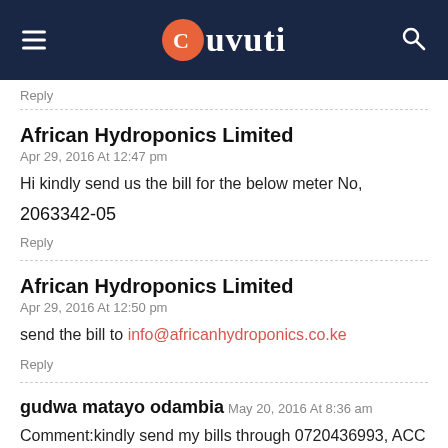Tuvuti
Reply
African Hydroponics Limited
Apr 29, 2016 At 12:47 pm
Hi kindly send us the bill for the below meter No,
2063342-05
Reply
African Hydroponics Limited
Apr 29, 2016 At 12:50 pm
send the bill to info@africanhydroponics.co.ke
Reply
gudwa matayo odambia
May 20, 2016 At 8:36 am
Comment:kindly send my bills through 0720436993, ACC no.